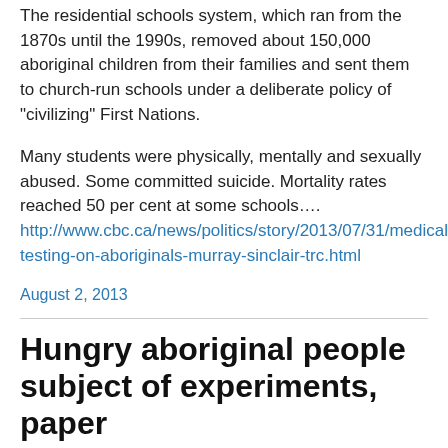The residential schools system, which ran from the 1870s until the 1990s, removed about 150,000 aboriginal children from their families and sent them to church-run schools under a deliberate policy of “ivilizing” First Nations.
Many students were physically, mentally and sexually abused. Some committed suicide. Mortality rates reached 50 per cent at some schools…. http://www.cbc.ca/news/politics/story/2013/07/31/medical-testing-on-aboriginals-murray-sinclair-trc.html
August 2, 2013
Hungry aboriginal people subject of experiments, paper